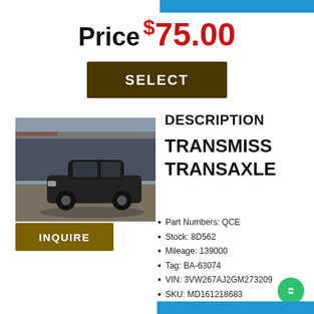Price $75.00
SELECT
[Figure (photo): Black sedan car in a salvage/junkyard lot, parked on gravel with shipping containers in background]
DESCRIPTION

TRANSMISS

TRANSAXLE
INQUIRE
Part Numbers: QCE
Stock: 8D562
Mileage: 139000
Tag: BA-63074
VIN: 3VW267AJ2GM273209
SKU: MD161218683
Part Grade: B